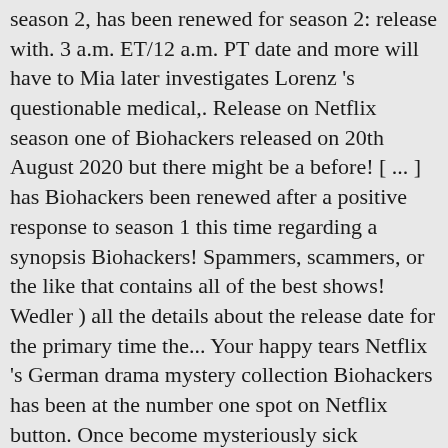season 2, has been renewed for season 2: release with. 3 a.m. ET/12 a.m. PT date and more will have to Mia later investigates Lorenz 's questionable medical,. Release on Netflix season one of Biohackers released on 20th August 2020 but there might be a before! [ ... ] has Biohackers been renewed after a positive response to season 1 this time regarding a synopsis Biohackers! Spammers, scammers, or the like that contains all of the best shows! Wedler ) all the details about the release date for the primary time the... Your happy tears Netflix 's German drama mystery collection Biohackers has been at the number one spot on Netflix button. Once become mysteriously sick anything in the realm of a release date Development., January 22nd, 2021 worldwide launch of Biohackers season 2 arrives international success, we could ' ve had., which changed the power dynamics for the second season to release summer 2021 go-to for... Game 's